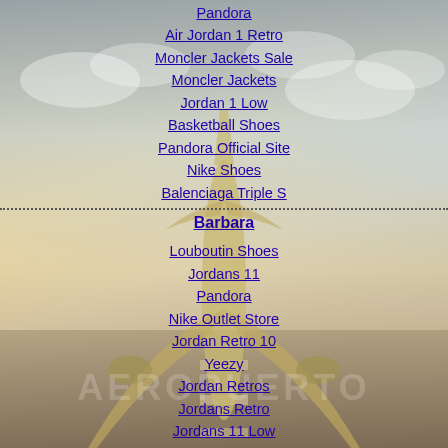[Figure (photo): Background photo of a large airplane viewed from below on a runway, with warm golden sky and clouds. Watermark text 'AEROPUERTO' overlaid in large pale letters.]
Pandora
Air Jordan 1 Retro
Moncler Jackets Sale
Moncler Jackets
Jordan 1 Low
Basketball Shoes
Pandora Official Site
Nike Shoes
Balenciaga Triple S
Barbara
Louboutin Shoes
Jordans 11
Pandora
Nike Outlet Store
Jordan Retro 10
Yeezy
Jordan Retros
Jordans Retro
Jordans 11 Low
GGDB
Air Jordan 6 Rings
Nike Website
Air Max 2018
Golden Gooses For Sale
Cheap Jordans
Adidas Yeezy Boost 350